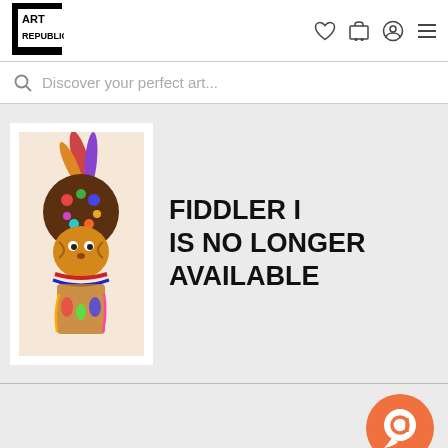[Figure (logo): Art Republic logo — black text on white background with black border blocks]
[Figure (infographic): Navigation icons: heart (wishlist), shopping cart, user account, hamburger menu]
Discover your perfect art...
[Figure (photo): Artwork photo of a colorful character with feathered hat and decorative accessories on white card background]
FIDDLER I IS NO LONGER AVAILABLE
[Figure (illustration): Orange circular chat/help button with speech bubble icon in bottom right area]